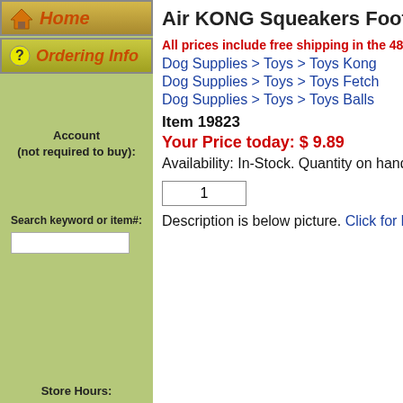Home
Ordering Info
Account
(not required to buy):
Search keyword or item#:
Air KONG Squeakers Football Sm
All prices include free shipping in the 48 stat
Dog Supplies > Toys > Toys Kong
Dog Supplies > Toys > Toys Fetch
Dog Supplies > Toys > Toys Balls
Item 19823
Your Price today: $ 9.89
Availability: In-Stock. Quantity on hand: 3
1
Description is below picture. Click for large
Store Hours: